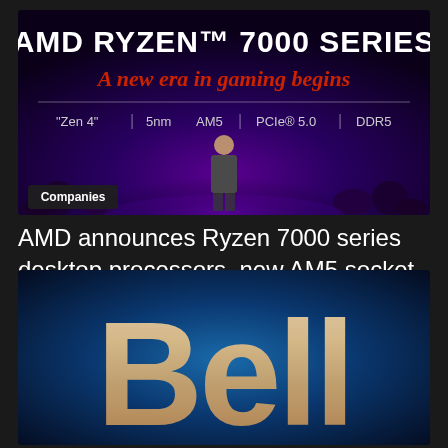[Figure (photo): AMD Ryzen 7000 Series presentation slide showing 'A new era in gaming begins' with specs: Zen 4, 5nm, AM5, PCIe 5.0, DDR5. A presenter stands on stage. A 'Companies' badge is shown at the bottom left.]
AMD announces Ryzen 7000 series desktop processors, new AM5 socket, and new motherboard chipsets
[Figure (logo): Bell company logo — large stylized 'Bell' text in metallic/champagne color against a dark blue radial gradient background.]